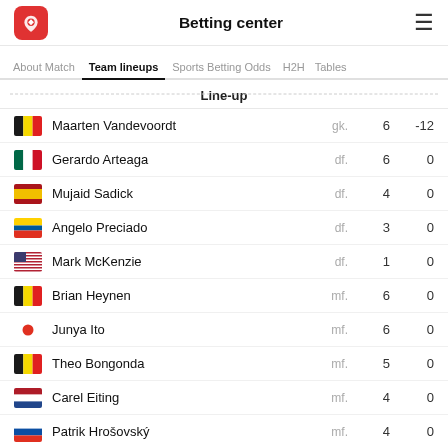Betting center
About Match | Team lineups | Sports Betting Odds | H2H | Tables
Line-up
| Player | Position | Stat1 | Stat2 |
| --- | --- | --- | --- |
| Maarten Vandevoordt | gk. | 6 | -12 |
| Gerardo Arteaga | df. | 6 | 0 |
| Mujaid Sadick | df. | 4 | 0 |
| Angelo Preciado | df. | 3 | 0 |
| Mark McKenzie | df. | 1 | 0 |
| Brian Heynen | mf. | 6 | 0 |
| Junya Ito | mf. | 6 | 0 |
| Theo Bongonda | mf. | 5 | 0 |
| Carel Eiting | mf. | 4 | 0 |
| Patrik Hrošovský | mf. | 4 | 0 |
| Iké Ugbo | fw. | 3 | 0 |